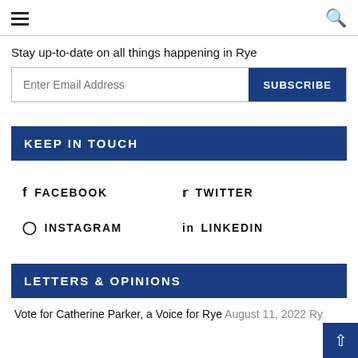≡  🔍
Stay up-to-date on all things happening in Rye
Enter Email Address  SUBSCRIBE
KEEP IN TOUCH
FACEBOOK
TWITTER
INSTAGRAM
LINKEDIN
LETTERS & OPINIONS
Vote for Catherine Parker, a Voice for Rye  August 11, 2022  Rye